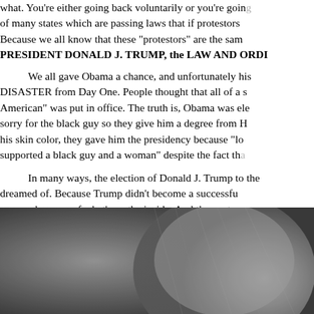what. You're either going back voluntarily or you're going... of many states which are passing laws that if protestors... Because we all know that these "protestors" are the sam... PRESIDENT DONALD J. TRUMP, the LAW AND ORDI...
We all gave Obama a chance, and unfortunately his... DISASTER from Day One. People thought that all of a s... American" was put in office. The truth is, Obama was ele... sorry for the black guy so they give him a degree from H... his skin color, they gave him the presidency because "lo... supported a black guy and a woman" despite the fact tha...
In many ways, the election of Donald J. Trump to the... dreamed of. Because Trump didn't become a successfu... success because of what's on the inside. And the conte... American people. History was made, indeed; and Donal... country has ever known BECAUSE HE IS REPRESENT... of the future, will know us by the company we keep. The...
[Figure (photo): Black and white photograph, partially visible at bottom of page, showing a person wearing a knit/textured hat or head covering, grayscale tones.]